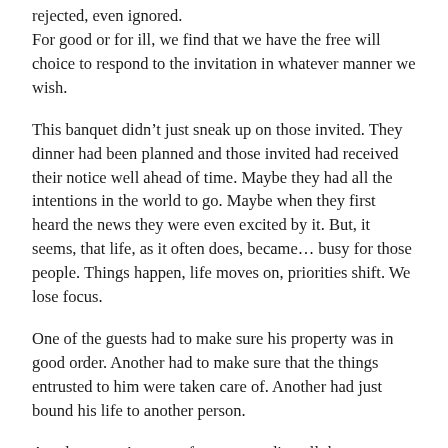rejected, even ignored. For good or for ill, we find that we have the free will choice to respond to the invitation in whatever manner we wish.
This banquet didn’t just sneak up on those invited. They dinner had been planned and those invited had received their notice well ahead of time. Maybe they had all the intentions in the world to go. Maybe when they first heard the news they were even excited by it. But, it seems, that life, as it often does, became… busy for those people. Things happen, life moves on, priorities shift. We lose focus.
One of the guests had to make sure his property was in good order. Another had to make sure that the things entrusted to him were taken care of. Another had just bound his life to another person.
Are the guests’ reasons for not attending all that unreasonable? Doesn’t really seem like it. I mean, aren’t